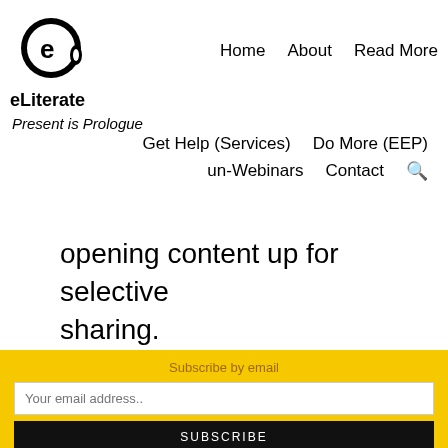[Figure (logo): eLiterate logo: circular icon with stylized letter e inside a head silhouette, with text 'eLiterate' below]
Home  About  Read More  Get Help (Services)  Do More (EEP)  un-Webinars  Contact
Present is Prologue
opening content up for selective sharing.
In this morning's IHE article, the Unizin founders
Subscribe by email
Your email address..
SUBSCRIBE